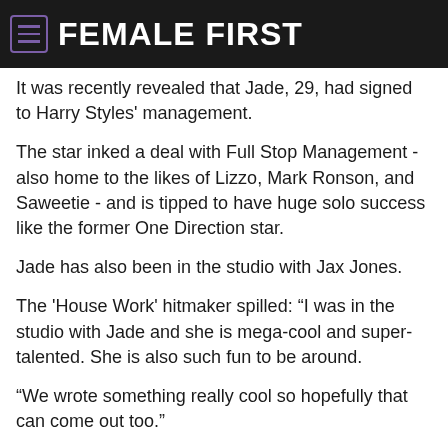FEMALE FIRST
It was recently revealed that Jade, 29, had signed to Harry Styles' management.
The star inked a deal with Full Stop Management - also home to the likes of Lizzo, Mark Ronson, and Saweetie - and is tipped to have huge solo success like the former One Direction star.
Jade has also been in the studio with Jax Jones.
The 'House Work' hitmaker spilled: “I was in the studio with Jade and she is mega-cool and super-talented. She is also such fun to be around.
“We wrote something really cool so hopefully that can come out too.”
Jade recently admitted it will be "very emotional" wrapping Little Mix's last tour before their hiatus.
The pop star is feeling "nervous" about returning to the